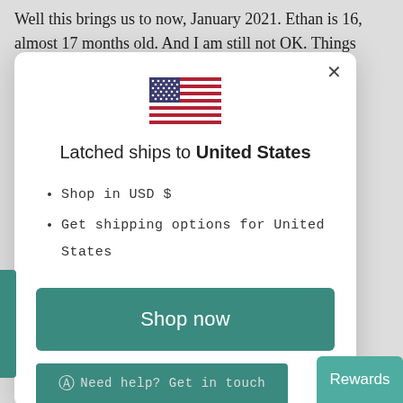Well this brings us to now, January 2021. Ethan is 16, almost 17 months old. And I am still not OK. Things have got better
[Figure (screenshot): A modal dialog popup showing a US flag, the text 'Latched ships to United States', bullet points 'Shop in USD $' and 'Get shipping options for United States', a teal 'Shop now' button, and a 'Change shipping country' underlined link. A 'Rewards' button appears at bottom right and a WhatsApp chat button at bottom left.]
Shop in USD $
Get shipping options for United States